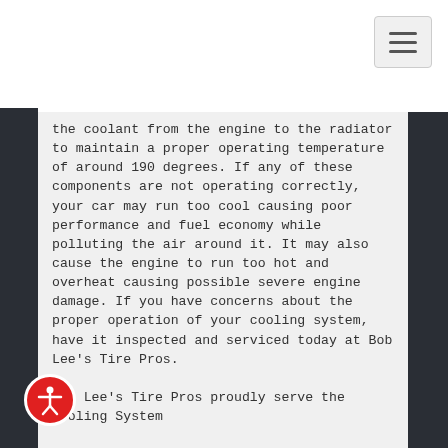[Figure (screenshot): Navigation bar with hamburger menu button in top right corner]
the coolant from the engine to the radiator to maintain a proper operating temperature of around 190 degrees. If any of these components are not operating correctly, your car may run too cool causing poor performance and fuel economy while polluting the air around it. It may also cause the engine to run too hot and overheat causing possible severe engine damage. If you have concerns about the proper operation of your cooling system, have it inspected and serviced today at Bob Lee's Tire Pros.
Bob Lee's Tire Pros proudly serve the Cooling System...